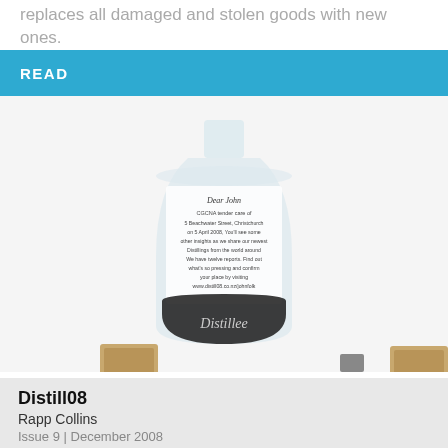replaces all damaged and stolen goods with new ones.
READ
[Figure (photo): A glass bottle with a printed letter label on it and a dark band at the bottom with cursive branding text. Three small wooden cork or box objects visible at the bottom of the image.]
Distill08
Rapp Collins
Issue 9 | December 2008